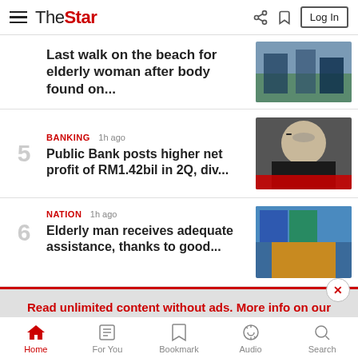The Star — hamburger menu, share, bookmark, Log In
Last walk on the beach for elderly woman after body found on...
5 — BANKING 1h ago — Public Bank posts higher net profit of RM1.42bil in 2Q, div...
6 — NATION 1h ago — Elderly man receives adequate assistance, thanks to good...
Read unlimited content without ads. More info on our Premium Plan.  >
Home | For You | Bookmark | Audio | Search